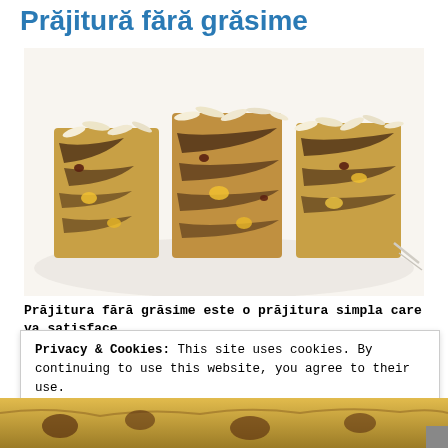Prăjitură fără grăsime
[Figure (photo): Three slices of fat-free cake with almond flakes on top, showing a marbled chocolate and fruit interior, served on a white plate]
Prăjitura fără grăsime este o prăjitura simpla care va satisface
Privacy & Cookies: This site uses cookies. By continuing to use this website, you agree to their use.
To find out more, including how to control cookies, see here:
Cookie Policy
Close and accept